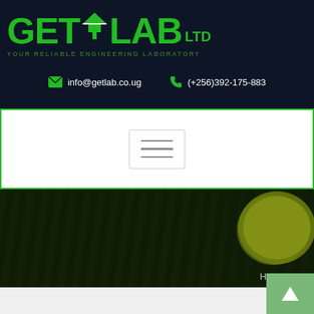[Figure (logo): GETLAB LTD logo in green text on dark navy background with tagline YOUR RELIABLE ENGINEERING LABORATORY]
✉ info@getlab.co.ug    ☎ (+256)392-175-883
[Figure (screenshot): White navigation bar with green border containing a hamburger menu button (three horizontal lines)]
[Figure (photo): Dark green grass background with a yellow-green tennis or sports ball visible on the right side. Breadcrumb navigation shows Home / Con... at the bottom right]
Home / Con...